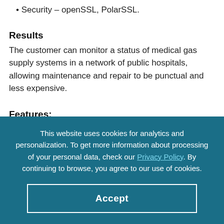Security – openSSL, PolarSSL.
Results
The customer can monitor a status of medical gas supply systems in a network of public hospitals, allowing maintenance and repair to be punctual and less expensive.
Features:
This website uses cookies for analytics and personalization. To get more information about processing of your personal data, check our Privacy Policy. By continuing to browse, you agree to our use of cookies.